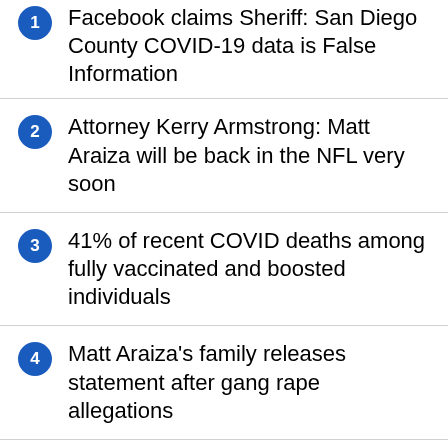1 Facebook claims Sheriff: San Diego County COVID-19 data is False Information
2 Attorney Kerry Armstrong: Matt Araiza will be back in the NFL very soon
3 41% of recent COVID deaths among fully vaccinated and boosted individuals
4 Matt Araiza's family releases statement after gang rape allegations
5 Vehicle stolen at gunpoint in Chula Vista, police looking for suspects